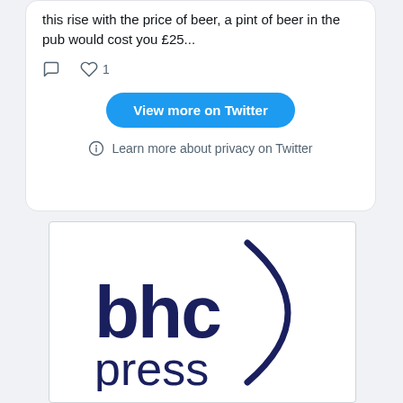this rise with the price of beer, a pint of beer in the pub would cost you £25...
[Figure (screenshot): Twitter tweet card showing text, comment and like icons (1 like), a blue 'View more on Twitter' button, and a privacy note with info icon reading 'Learn more about privacy on Twitter']
[Figure (logo): BHC Press logo: dark navy blue text 'bhc press' with a large curved parenthesis arc on the right side]